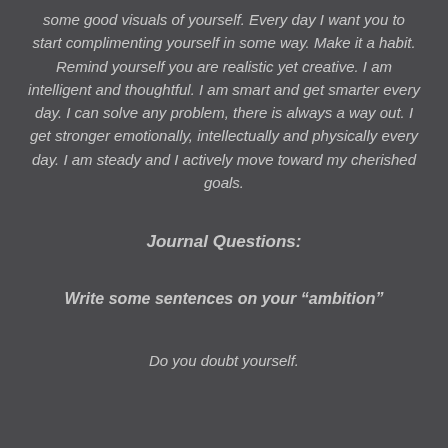some good visuals of yourself. Every day I want you to start complimenting yourself in some way. Make it a habit. Remind yourself you are realistic yet creative. I am intelligent and thoughtful. I am smart and get smarter every day. I can solve any problem, there is always a way out. I get stronger emotionally, intellectually and physically every day. I am steady and I actively move toward my cherished goals.
Journal Questions:
Write some sentences on your “ambition”
Do you doubt yourself.